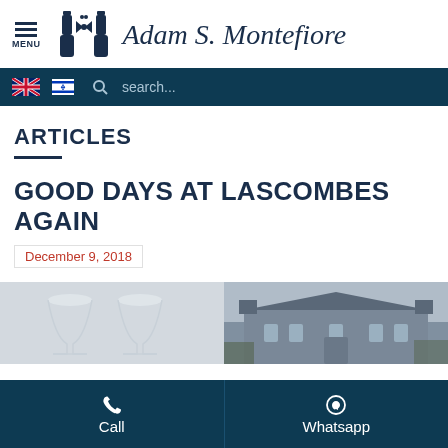Adam S. Montefiore
ARTICLES
GOOD DAYS AT LASCOMBES AGAIN
December 9, 2018
[Figure (photo): Two wine glasses on left, chateau building on right]
Call | Whatsapp